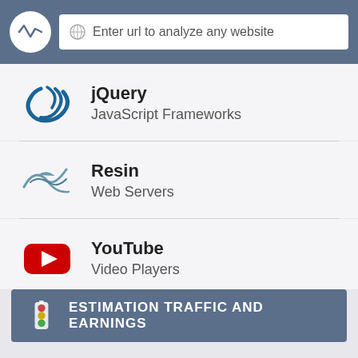Enter url to analyze any website
jQuery
JavaScript Frameworks
Resin
Web Servers
YouTube
Video Players
ESTIMATION TRAFFIC AND EARNINGS